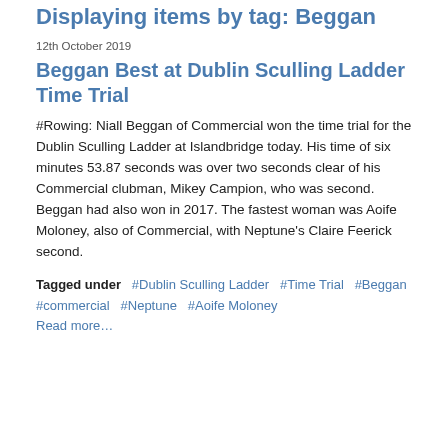Displaying items by tag: Beggan
12th October 2019
Beggan Best at Dublin Sculling Ladder Time Trial
#Rowing: Niall Beggan of Commercial won the time trial for the Dublin Sculling Ladder at Islandbridge today. His time of six minutes 53.87 seconds was over two seconds clear of his Commercial clubman, Mikey Campion, who was second. Beggan had also won in 2017. The fastest woman was Aoife Moloney, also of Commercial, with Neptune's Claire Feerick second.
Tagged under  #Dublin Sculling Ladder  #Time Trial  #Beggan  #commercial  #Neptune  #Aoife Moloney
Read more…